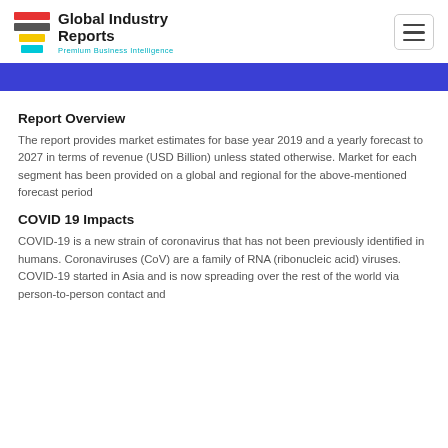Global Industry Reports — Premium Business Intelligence
Report Overview
The report provides market estimates for base year 2019 and a yearly forecast to 2027 in terms of revenue (USD Billion) unless stated otherwise. Market for each segment has been provided on a global and regional for the above-mentioned forecast period
COVID 19 Impacts
COVID-19 is a new strain of coronavirus that has not been previously identified in humans. Coronaviruses (CoV) are a family of RNA (ribonucleic acid) viruses. COVID-19 started in Asia and is now spreading over the rest of the world via person-to-person contact and